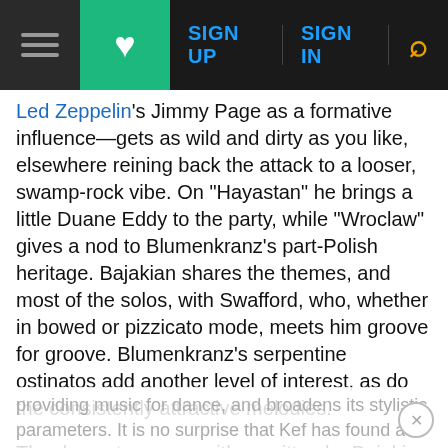☰  ♥  SIGN UP  SIGN IN  🔍
Led Zeppelin's Jimmy Page as a formative influence—gets as wild and dirty as you like, elsewhere reining back the attack to a looser, swamp-rock vibe. On "Hayastan" he brings a little Duane Eddy to the party, while "Wroclaw" gives a nod to Blumenkranz's part-Polish heritage. Bajakian shares the themes, and most of the solos, with Swafford, who, whether in bowed or pizzicato mode, meets him groove for groove. Blumenkranz's serpentine ostinatos add another level of interest, as do the consistently attractive melodies.
The dozen tunes are either written by Bajakian or arranged by him from traditional material. It is an exciting mélange, which preserves kef's roots in providing music for dance, and broadens its stylistic parameters. It is no surprise that Kef has found a